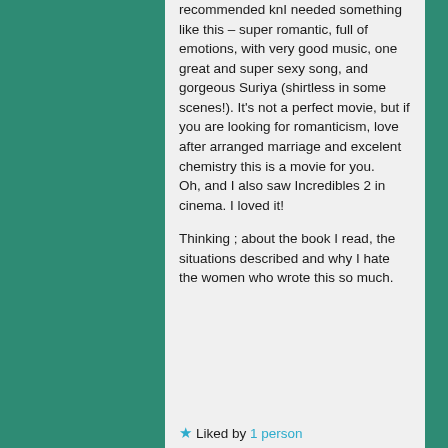recommended knI needed something like this – super romantic, full of emotions, with very good music, one great and super sexy song, and gorgeous Suriya (shirtless in some scenes!). It's not a perfect movie, but if you are looking for romanticism, love after arranged marriage and excelent chemistry this is a movie for you. Oh, and I also saw Incredibles 2 in cinema. I loved it!

Thinking ; about the book I read, the situations described and why I hate the women who wrote this so much.
★ Liked by 1 person